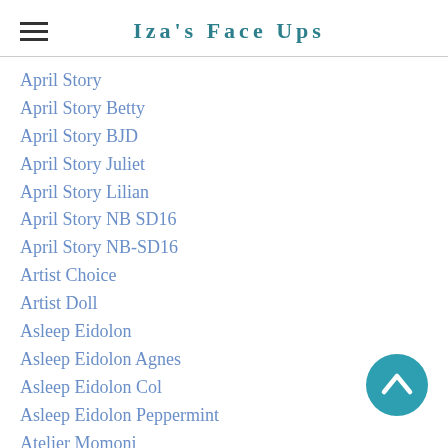Iza's Face Ups
April Story
April Story Betty
April Story BJD
April Story Juliet
April Story Lilian
April Story NB SD16
April Story NB-SD16
Artist Choice
Artist Doll
Asleep Eidolon
Asleep Eidolon Agnes
Asleep Eidolon Col
Asleep Eidolon Peppermint
Atelier Momoni
Atelier Momoni Somni
Ball Jointed Doll
Ball Jointed Doll